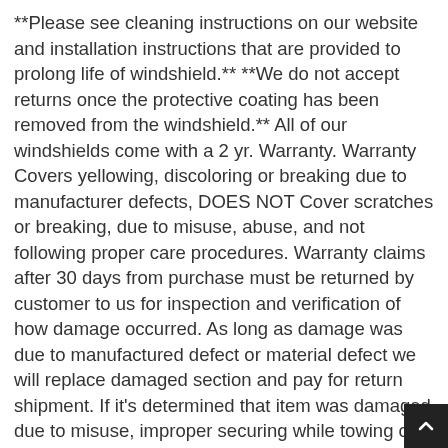**Please see cleaning instructions on our website and installation instructions that are provided to prolong life of windshield.** **We do not accept returns once the protective coating has been removed from the windshield.** All of our windshields come with a 2 yr. Warranty. Warranty Covers yellowing, discoloring or breaking due to manufacturer defects, DOES NOT Cover scratches or breaking, due to misuse, abuse, and not following proper care procedures. Warranty claims after 30 days from purchase must be returned by customer to us for inspection and verification of how damage occurred. As long as damage was due to manufactured defect or material defect we will replace damaged section and pay for return shipment. If it's determined that item was damaged due to misuse, improper securing while towing or abuse, replacing damage piece and return shipping cost will be the responsibility of the customer and not the company.